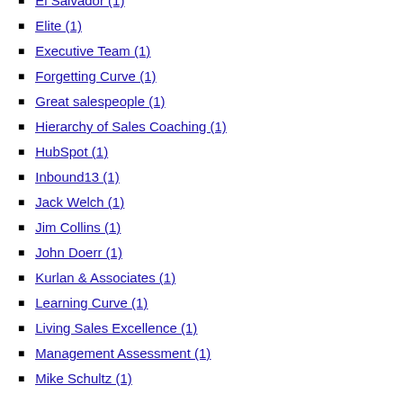El Salvador (1)
Elite (1)
Executive Team (1)
Forgetting Curve (1)
Great salespeople (1)
Hierarchy of Sales Coaching (1)
HubSpot (1)
Inbound13 (1)
Jack Welch (1)
Jim Collins (1)
John Doerr (1)
Kurlan & Associates (1)
Learning Curve (1)
Living Sales Excellence (1)
Management Assessment (1)
Mike Schultz (1)